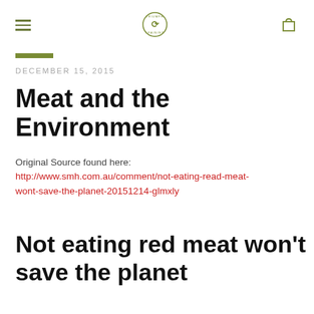Navigation header with hamburger menu, logo, and cart icon
DECEMBER 15, 2015
Meat and the Environment
Original Source found here: http://www.smh.com.au/comment/not-eating-read-meat-wont-save-the-planet-20151214-glmxly
Not eating red meat won't save the planet